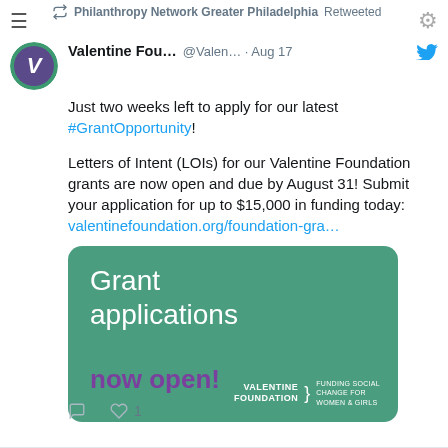Philanthropy Network Greater Philadelphia Retweeted
Valentine Fou... @Valen... · Aug 17
Just two weeks left to apply for our latest #GrantOpportunity!
Letters of Intent (LOIs) for our Valentine Foundation grants are now open and due by August 31! Submit your application for up to $15,000 in funding today: valentinefoundation.org/foundation-gra…
[Figure (infographic): Green card image with white text 'Grant applications' and purple text 'now open!' with Valentine Foundation logo and tagline 'Funding Social Change for Women & Girls']